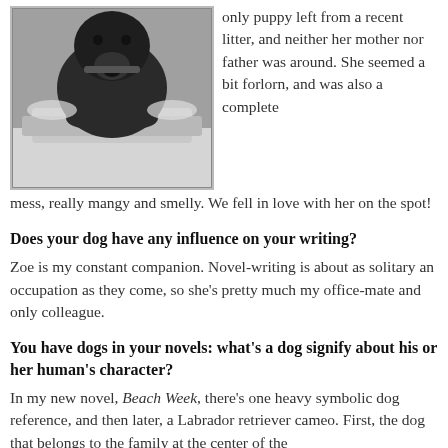[Figure (photo): Black dog in snow, leaning over a snowy surface, wearing a collar]
only puppy left from a recent litter, and neither her mother nor father was around. She seemed a bit forlorn, and was also a complete mess, really mangy and smelly. We fell in love with her on the spot!
Does your dog have any influence on your writing?
Zoe is my constant companion. Novel-writing is about as solitary an occupation as they come, so she’s pretty much my office-mate and only colleague.
You have dogs in your novels: what’s a dog signify about his or her human's character?
In my new novel, Beach Week, there’s one heavy symbolic dog reference, and then later, a Labrador retriever cameo. First, the dog that belongs to the family at the center of the